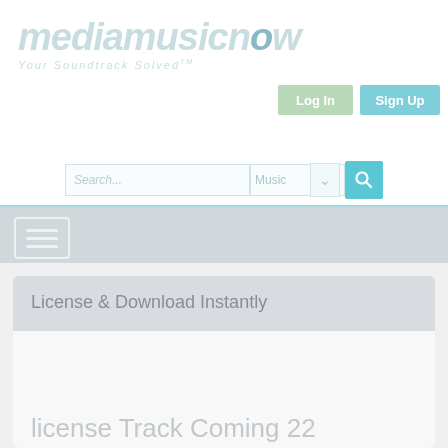[Figure (logo): mediamusicnow logo with tagline 'Your Soundtrack Solved']
[Figure (screenshot): Log In button (green) and Sign Up button (teal/blue)]
[Figure (screenshot): Search bar with 'Search...' placeholder, 'Music' dropdown, and teal search button]
[Figure (screenshot): Navigation bar with hamburger menu icon]
License & Download Instantly
[Figure (screenshot): White content panel below 'License & Download Instantly' section header, partially visible track content]